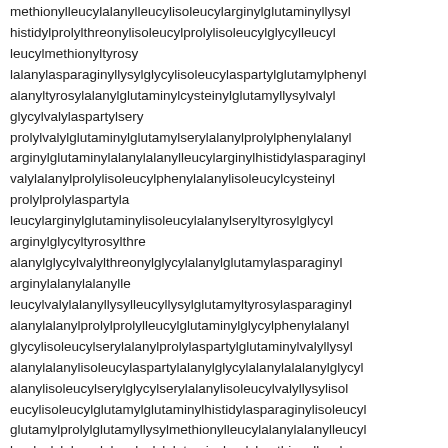methionylleucylalanylleucylisoleucylarginylglutaminyllysyl histidylprolylthreonylisoleucylprolylisoleucylglycylleucyl   leucylmethionyltyrosylalanylasparaginyllysylglycylisoleucylaspartylglutamylphenyl alanyltyrosylalanylglutaminylcysteinylglutamyllysylvalyl   glycylvalylaspartylserylprolylvalylglutaminylglutamylserylalanylprolylphenylalanyl arginylglutaminylalanylalanylleucylarginylhistidylasparaginyl valylalanylprolylisoleucylphenylalanylisoleucylcysteinyl         prolylprolylaspartylleucylarginylglutaminylisoleucylalanylseryltyrosylglycyl   arginylglycyltyrosylthreonyl alanylglycylvalylthreonylglycylalanylglutamylasparaginyl         arginylalanylalanylle leucylvalylalanyllysylleucyllysylglutamyltyrosylasparaginyl alanylalanylprolylprolylleucylglutaminylglycylphenylalanyl glycylisoleucylserylalanylprolylaspartylglutaminylvalyllysyl alanylalanylisoleucylaspartylalanylglycylalanylalalanylglycyl alanylisoleucylserylglycylserylalanylisoleucylvalyllysylisol eucylisoleucylglutamylglutaminylhistidylasparaginylisoleucyl glutamylprolylglutamyllysylmethionylleucylalanylalanylleucyl lysylvalylphenylalanylvalylglutaminylprolylmethionyllysyl alanylalanylthreonylar
Guest2383
1st prestige lvl 69 i just got it before i prestiged again